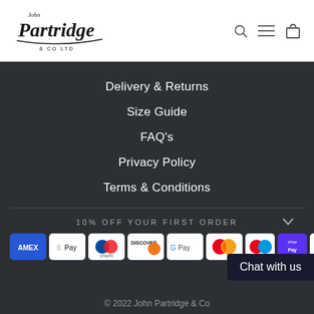[Figure (logo): John Partridge & Co Ltd logo in script font with underline swoosh]
Delivery & Returns
Size Guide
FAQ's
Privacy Policy
Terms & Conditions
10% OFF YOUR FIRST ORDER
[Figure (other): Payment method icons: Amex, Apple Pay, Diners Club, Discover, Google Pay, Mastercard, Maestro, Shop Pay, Visa]
Chat with us
© 2022 John Partridge & Co